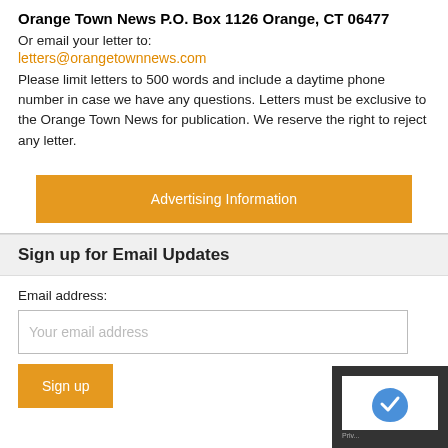Orange Town News P.O. Box 1126 Orange, CT 06477
Or email your letter to:
letters@orangetownnews.com
Please limit letters to 500 words and include a daytime phone number in case we have any questions. Letters must be exclusive to the Orange Town News for publication. We reserve the right to reject any letter.
Advertising Information
Sign up for Email Updates
Email address:
Your email address
Sign up